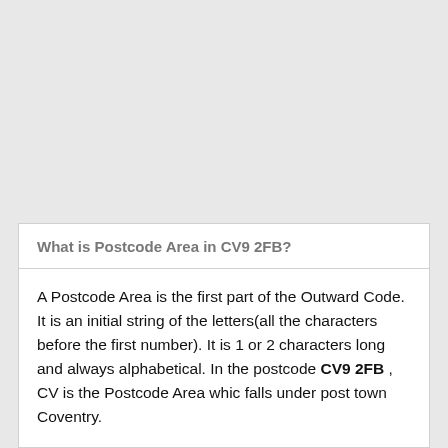What is Postcode Area in CV9 2FB?
A Postcode Area is the first part of the Outward Code. It is an initial string of the letters(all the characters before the first number). It is 1 or 2 characters long and always alphabetical. In the postcode CV9 2FB , CV is the Postcode Area whic falls under post town Coventry.